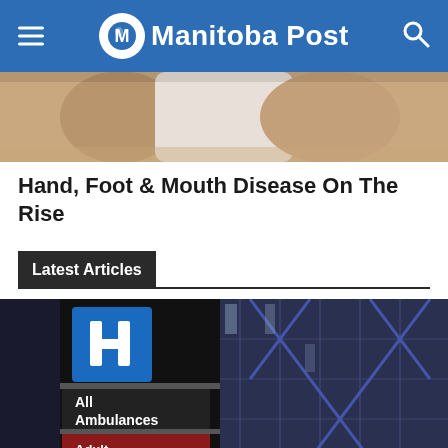Manitoba Post
[Figure (photo): Close-up photo of hands/skin, partially visible at top of page]
Hand, Foot & Mouth Disease On The Rise
Latest Articles
[Figure (photo): Hospital emergency entrance sign showing 'H' hospital symbol, 'All Ambulances', and 'Adult Emergency' text on a dark sign with a modern hospital building facade in the background]